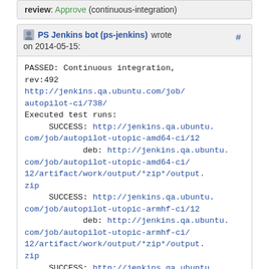review: Approve (continuous-integration)
PS Jenkins bot (ps-jenkins) wrote on 2014-05-15:
PASSED: Continuous integration, rev:492
http://jenkins.qa.ubuntu.com/job/autopilot-ci/738/
Executed test runs:
    SUCCESS: http://jenkins.qa.ubuntu.com/job/autopilot-utopic-amd64-ci/12
        deb: http://jenkins.qa.ubuntu.com/job/autopilot-utopic-amd64-ci/12/artifact/work/output/*zip*/output.zip
    SUCCESS: http://jenkins.qa.ubuntu.com/job/autopilot-utopic-armhf-ci/12
        deb: http://jenkins.qa.ubuntu.com/job/autopilot-utopic-armhf-ci/12/artifact/work/output/*zip*/output.zip
    SUCCESS: http://jenkins.qa.ubuntu.com/job/autopilot-utopic-i386-ci/12
        deb: http://jenkins.qa.ubuntu.com/